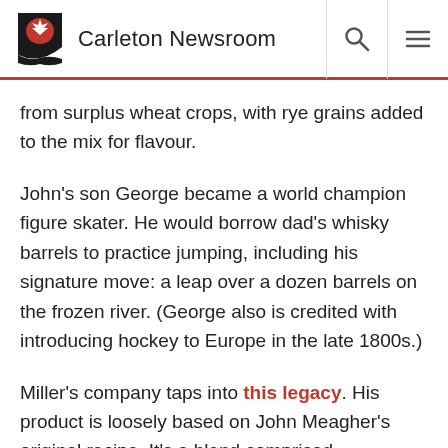Carleton Newsroom
from surplus wheat crops, with rye grains added to the mix for flavour.
John's son George became a world champion figure skater. He would borrow dad's whisky barrels to practice jumping, including his signature move: a leap over a dozen barrels on the frozen river. (George also is credited with introducing hockey to Europe in the late 1800s.)
Miller's company taps into this legacy. His product is loosely based on John Meagher's original recipe. It's a blend comprised predominantly of Canadian whisky, with a dash of American rye whisky that's